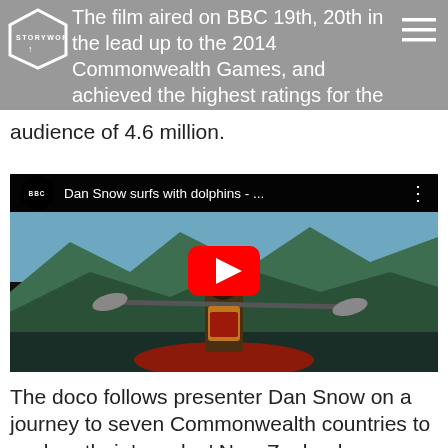The film aired on BBC 19th, 20th in the lead up to the 2014 Commonwealth Games, and achieved the highest ratings for the night – attracting an audience of 4.6 million.
audience of 4.6 million.
[Figure (screenshot): YouTube video thumbnail showing a person kayaking with mountains in background. Video title: 'Dan Snow surfs with dolphins - ...' BBC branded.]
The doco follows presenter Dan Snow on a journey to seven Commonwealth countries to explore their 'wonder.' New Zealand was lucky to